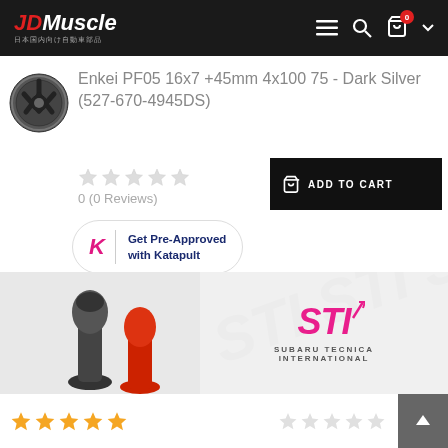JDMuscle - Header navigation bar
Enkei PF05 16x7 +45mm 4x100 75 - Dark Silver (527-670-4945DS)
0 (0 Reviews)
ADD TO CART
Get Pre-Approved with Katapult
[Figure (photo): Enkei PF05 wheel in dark silver finish, 5-spoke design]
[Figure (photo): STI branded product imagery on banner with shift knobs]
[Figure (logo): Subaru Tecnica International (STI) logo in pink/magenta]
[Figure (infographic): Gold star rating (5 stars) at bottom left]
[Figure (infographic): Grey star rating (0 stars) at bottom center-right]